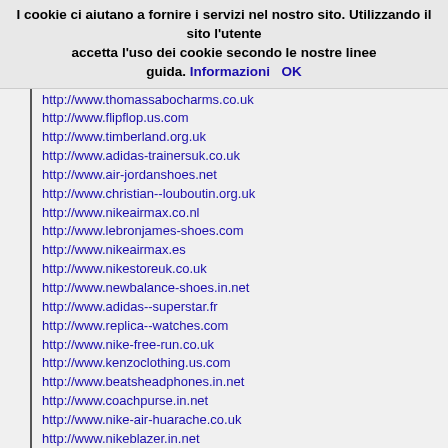I cookie ci aiutano a fornire i servizi nel nostro sito. Utilizzando il sito l'utente accetta l'uso dei cookie secondo le nostre linee guida. Informazioni OK
http://www.thomassabocharms.co.uk
http://www.flipflop.us.com
http://www.timberland.org.uk
http://www.adidas-trainersuk.co.uk
http://www.air-jordanshoes.net
http://www.christian--louboutin.org.uk
http://www.nikeairmax.co.nl
http://www.lebronjames-shoes.com
http://www.nikeairmax.es
http://www.nikestoreuk.co.uk
http://www.newbalance-shoes.in.net
http://www.adidas--superstar.fr
http://www.replica--watches.com
http://www.nike-free-run.co.uk
http://www.kenzoclothing.us.com
http://www.beatsheadphones.in.net
http://www.coachpurse.in.net
http://www.nike-air-huarache.co.uk
http://www.nikeblazer.in.net
http://www.airjordanpaschere.fr
http://www.oakley--sunglassesoutlet.us.com
http://www.montre--pascher.fr
http://www.ralphlauren--outlet.co.uk
http://www.the-north-face.me.uk
http://www.hogan-outlet-online.it
http://www.fitflopsale.net
http://www.jordan6.in.net
http://www.converse--shoes.us